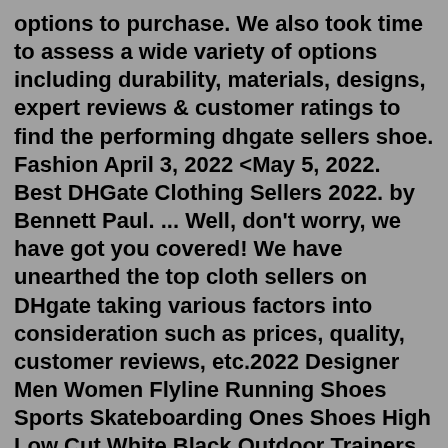options to purchase. We also took time to assess a wide variety of options including durability, materials, designs, expert reviews & customer ratings to find the performing dhgate sellers shoe. Fashion April 3, 2022 <May 5, 2022. Best DHGate Clothing Sellers 2022. by Bennett Paul. ... Well, don't worry, we have got you covered! We have unearthed the top cloth sellers on DHgate taking various factors into consideration such as prices, quality, customer reviews, etc.2022 Designer Men Women Flyline Running Shoes Sports Skateboarding Ones Shoes High Low Cut White Black Outdoor Trainers Sneakers US $0.01 - 33.51 / PairOct 01, 2021 · With more than a whopping 11,000 transactions across international markets, Jumpman Shoes is one of the biggest and most reputed names among the DHgate shoe sellers. This company focuses on the production, development and selling of basketball and running shoes. These quality sneakers are designed to cater to men's fashion tastes and preferences. 10 Best shoes on dhgate, Buying & Buying Guide, Sale Best seller No.1